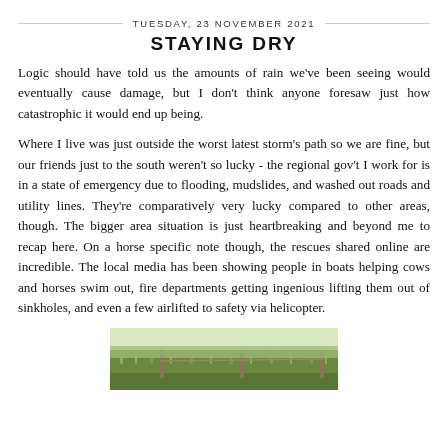TUESDAY, 23 NOVEMBER 2021
STAYING DRY
Logic should have told us the amounts of rain we've been seeing would eventually cause damage, but I don't think anyone foresaw just how catastrophic it would end up being.
Where I live was just outside the worst latest storm's path so we are fine, but our friends just to the south weren't so lucky - the regional gov't I work for is in a state of emergency due to flooding, mudslides, and washed out roads and utility lines. They're comparatively very lucky compared to other areas, though. The bigger area situation is just heartbreaking and beyond me to recap here. On a horse specific note though, the rescues shared online are incredible. The local media has been showing people in boats helping cows and horses swim out, fire departments getting ingenious lifting them out of sinkholes, and even a few airlifted to safety via helicopter.
[Figure (photo): A photo showing a grassy or rural landscape, partially visible at the bottom of the page.]